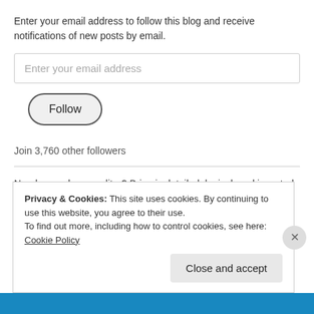Enter your email address to follow this blog and receive notifications of new posts by email.
Enter your email address
Follow
Join 3,760 other followers
Need a good copy-editor? Brian is detailed, logical, and invested in making your work better. Check him out at: http://buckleyeditor.com
Privacy & Cookies: This site uses cookies. By continuing to use this website, you agree to their use.
To find out more, including how to control cookies, see here: Cookie Policy
Close and accept